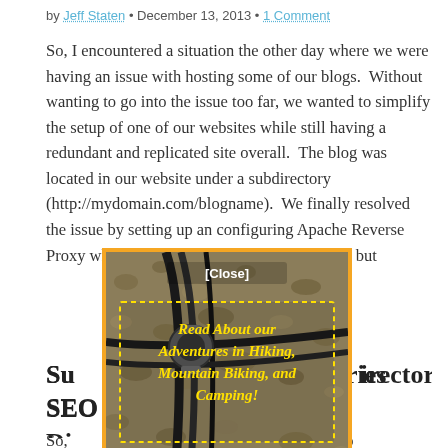by Jeff Staten • December 13, 2013 • 1 Comment
So, I encountered a situation the other day where we were having an issue with hosting some of our blogs.  Without wanting to go into the issue too far, we wanted to simplify the setup of one of our websites while still having a redundant and replicated site overall.  The blog was located in our website under a subdirectory (http://mydomain.com/blogname).  We finally resolved the issue by setting up an configuring Apache Reverse Proxy which we will detail later in this article, but
Subdirectories SEO Di…
[Figure (photo): Popup advertisement overlay with orange border showing a gravel/dirt photo background. Contains '[Close]' button text and italic bold yellow text reading 'Read About our Adventures in Hiking, Mountain Biking, and Camping!' with dashed yellow border.]
So, … it would be much easier to just … nt server, use a subdomain of o… log and 301 redirects to send traff… new ones.  But this led to the link-juice discussion and will we lose SEO traffic and the like.  We